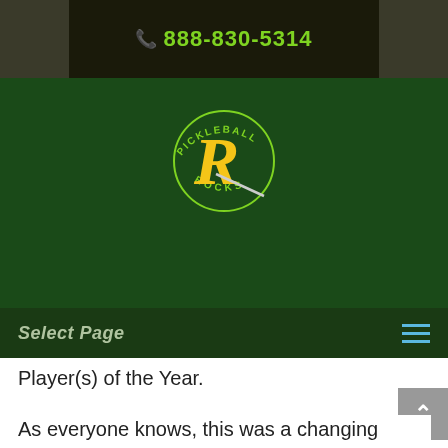888-830-5314
[Figure (logo): Pickleball Rocks logo: circular text reading PICKLEBALL ROCKS around a stylized yellow R with a swoosh, on dark green background]
Select Page
Player(s) of the Year.
As everyone knows, this was a changing year for pickleball. 15-20 tournaments now occurring every week and we cleared 3 million players in the continued player growth explosion.  So you would think it would be tougher and tougher to choose the Players Of The Year, but this year it was quite the opposite